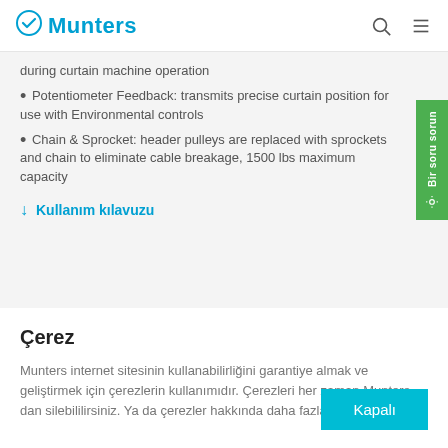Munters
during curtain machine operation
Potentiometer Feedback: transmits precise curtain position for use with Environmental controls
Chain & Sprocket: header pulleys are replaced with sprockets and chain to eliminate cable breakage, 1500 lbs maximum capacity
↓ Kullanım kılavuzu
Çerez
Munters internet sitesinin kullanabilirliğini garantiye almak ve geliştirmek için çerezlerin kullanımıdır. Çerezleri her zaman Munters dan silebililirsiniz. Ya da çerezler hakkında daha fazla okuyabilirsiniz.
Kapalı